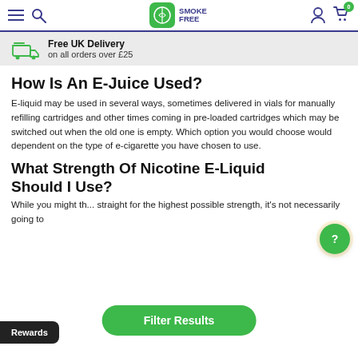Smoke Free — navigation bar with hamburger menu, search, logo, user icon, and cart (0)
Free UK Delivery on all orders over £25
How Is An E-Juice Used?
E-liquid may be used in several ways, sometimes delivered in vials for manually refilling cartridges and other times coming in pre-loaded cartridges which may be switched out when the old one is empty. Which option you would choose would dependent on the type of e-cigarette you have chosen to use.
What Strength Of Nicotine E-Liquid Should I Use?
While you might th... straight for the highest possible strength, it's not necessarily going to